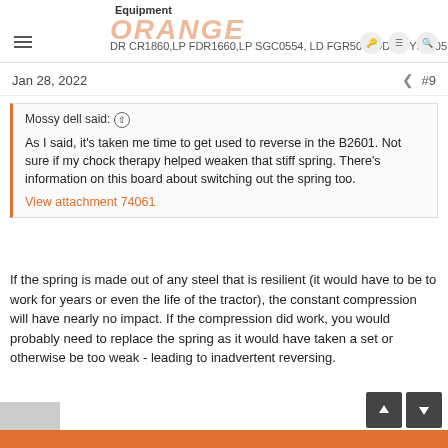Equipment ORANGE DR CR1860,LP FDR1660,LP SGC0554, LD FGR500, DD DDY30005
Jan 28, 2022  #9
Mossy dell said: ↑

As I said, it's taken me time to get used to reverse in the B2601. Not sure if my chock therapy helped weaken that stiff spring. There's information on this board about switching out the spring too.
View attachment 74061
If the spring is made out of any steel that is resilient (it would have to be to work for years or even the life of the tractor), the constant compression will have nearly no impact. If the compression did work, you would probably need to replace the spring as it would have taken a set or otherwise be too weak - leading to inadvertent reversing.